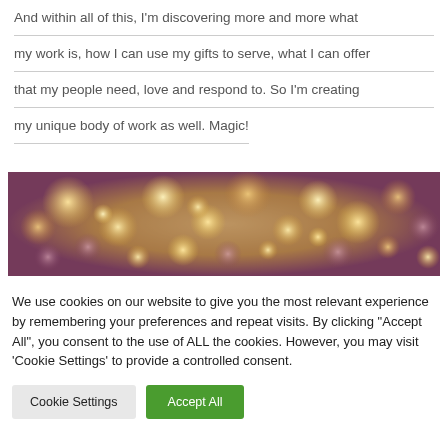And within all of this, I'm discovering more and more what my work is, how I can use my gifts to serve, what I can offer that my people need, love and respond to. So I'm creating my unique body of work as well. Magic!
[Figure (photo): Bokeh photo with warm golden and purple light orbs on a blurred background]
We use cookies on our website to give you the most relevant experience by remembering your preferences and repeat visits. By clicking "Accept All", you consent to the use of ALL the cookies. However, you may visit 'Cookie Settings' to provide a controlled consent.